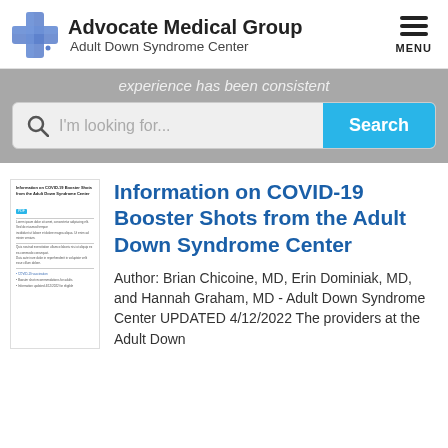[Figure (logo): Advocate Medical Group logo with blue cross and text 'Advocate Medical Group / Adult Down Syndrome Center', plus hamburger MENU button top right]
experience has been consistent
[Figure (screenshot): Search bar with magnifying glass icon, placeholder 'I'm looking for...' and a blue Search button]
[Figure (screenshot): Thumbnail preview of the COVID-19 Booster Shots information document]
Information on COVID-19 Booster Shots from the Adult Down Syndrome Center
Author: Brian Chicoine, MD, Erin Dominiak, MD, and Hannah Graham, MD - Adult Down Syndrome Center UPDATED 4/12/2022 The providers at the Adult Down